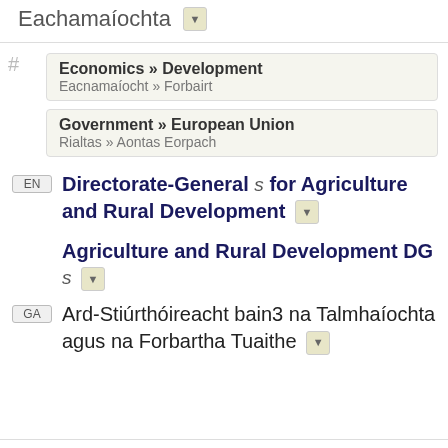Eachamaíochta ▼
Economics » Development
Eacnamaíocht » Forbairt
Government » European Union
Rialtas » Aontas Eorpach
EN  Directorate-General s for Agriculture and Rural Development ▼
Agriculture and Rural Development DG s ▼
GA  Ard-Stiúrthóireacht bain3 na Talmhaíochta agus na Forbartha Tuaithe ▼